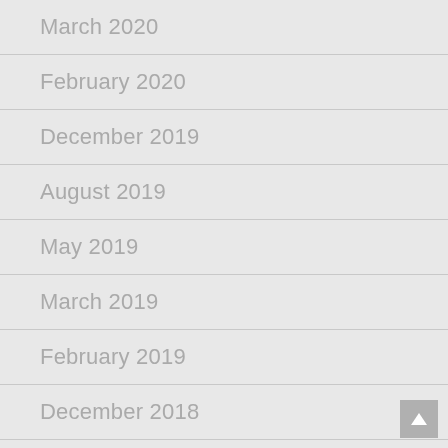March 2020
February 2020
December 2019
August 2019
May 2019
March 2019
February 2019
December 2018
November 2018